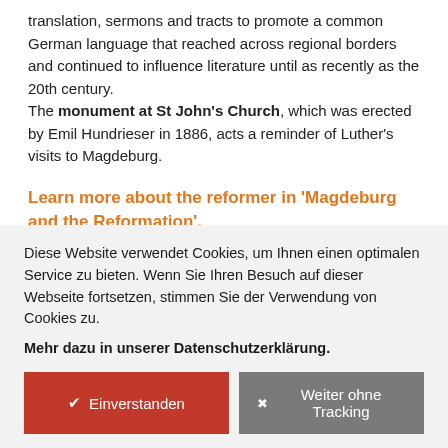translation, sermons and tracts to promote a common German language that reached across regional borders and continued to influence literature until as recently as the 20th century.
The monument at St John's Church, which was erected by Emil Hundrieser in 1886, acts a reminder of Luther's visits to Magdeburg.
Learn more about the reformer in 'Magdeburg and the Reformation'.
Diese Website verwendet Cookies, um Ihnen einen optimalen Service zu bieten. Wenn Sie Ihren Besuch auf dieser Webseite fortsetzen, stimmen Sie der Verwendung von Cookies zu.
Mehr dazu in unserer Datenschutzerklärung.